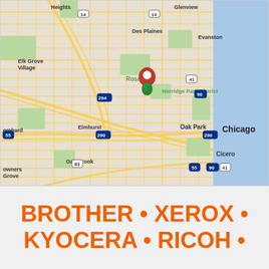[Figure (map): Google Maps view of Chicago metropolitan area showing Norridge Park District location pin near Rosemont, with surrounding suburbs including Des Plaines, Glenview, Evanston, Elk Grove Village, Elmhurst, Oak Park, Lombard, Oak Brook, Owners Grove, Cicero, and Chicago. Major highways labeled include 294, 290, 90, 55, 41, 83, 14.]
BROTHER • XEROX • KYOCERA • RICOH •